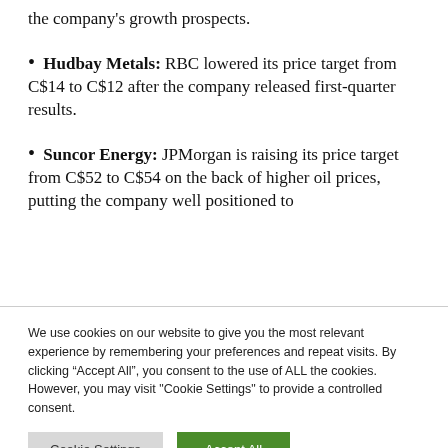the company's growth prospects.
Hudbay Metals: RBC lowered its price target from C$14 to C$12 after the company released first-quarter results.
Suncor Energy: JPMorgan is raising its price target from C$52 to C$54 on the back of higher oil prices, putting the company well positioned to
We use cookies on our website to give you the most relevant experience by remembering your preferences and repeat visits. By clicking “Accept All”, you consent to the use of ALL the cookies. However, you may visit "Cookie Settings" to provide a controlled consent.